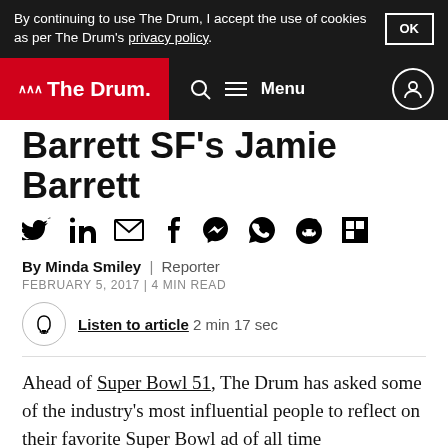By continuing to use The Drum, I accept the use of cookies as per The Drum's privacy policy.
The Drum — Menu
Barrett SF's Jamie Barrett
[Figure (infographic): Social sharing icons row: Twitter, LinkedIn, Email, Facebook, Messenger, WhatsApp, Reddit, Flipboard]
By Minda Smiley | Reporter
FEBRUARY 5, 2017 | 4 MIN READ
Listen to article 2 min 17 sec
Ahead of Super Bowl 51, The Drum has asked some of the industry's most influential people to reflect on their favorite Super Bowl ad of all time